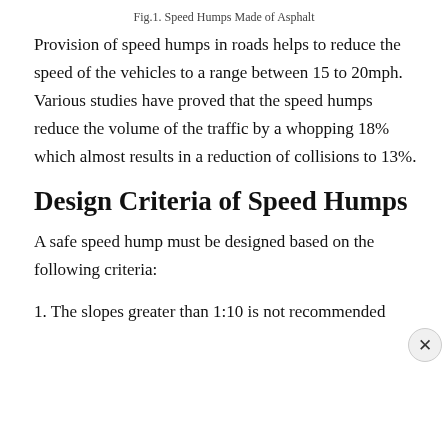Fig.1. Speed Humps Made of Asphalt
Provision of speed humps in roads helps to reduce the speed of the vehicles to a range between 15 to 20mph. Various studies have proved that the speed humps reduce the volume of the traffic by a whopping 18% which almost results in a reduction of collisions to 13%.
Design Criteria of Speed Humps
A safe speed hump must be designed based on the following criteria:
1. The slopes greater than 1:10 is not recommended